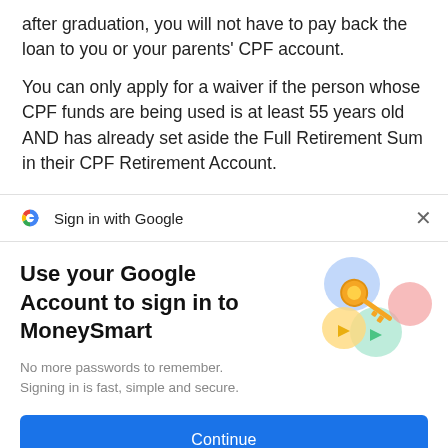after graduation, you will not have to pay back the loan to you or your parents' CPF account.
You can only apply for a waiver if the person whose CPF funds are being used is at least 55 years old AND has already set aside the Full Retirement Sum in their CPF Retirement Account.
Sign in with Google
Use your Google Account to sign in to MoneySmart
No more passwords to remember. Signing in is fast, simple and secure.
[Figure (illustration): Colorful illustration of a golden key with circular shields/icons in blue, green, yellow, and pink, representing Google account security]
Continue